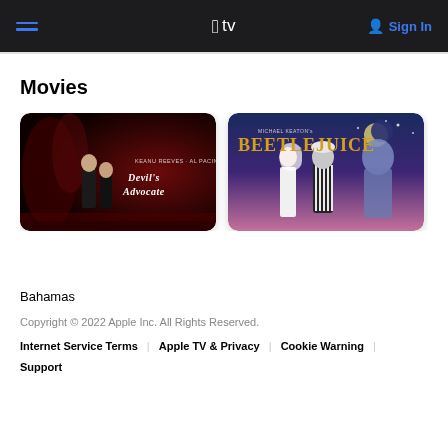Apple TV — Sign In
Movies
[Figure (photo): Movie poster for Devil's Advocate featuring Keanu Reeves and Al Pacino on a dark red background]
[Figure (photo): Movie poster for Beetlejuice featuring characters on a purple/blue sky background with the title in gold letters]
Bahamas
Copyright © 2022 Apple Inc. All Rights Reserved. Internet Service Terms | Apple TV & Privacy | Cookie Warning | Support